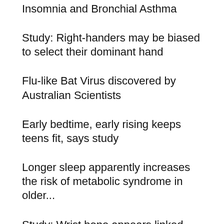Insomnia and Bronchial Asthma
Study: Right-handers may be biased to select their dominant hand
Flu-like Bat Virus discovered by Australian Scientists
Early bedtime, early rising keeps teens fit, says study
Longer sleep apparently increases the risk of metabolic syndrome in older...
Study: Wrist bone appears linked with heart risk